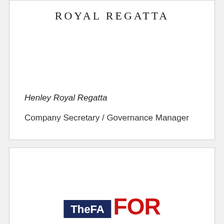ROYAL REGATTA
Henley Royal Regatta
Company Secretary / Governance Manager
[Figure (logo): The FA logo (dark navy box with white bold text 'TheFA') alongside large red bold text 'FOR' partially visible]